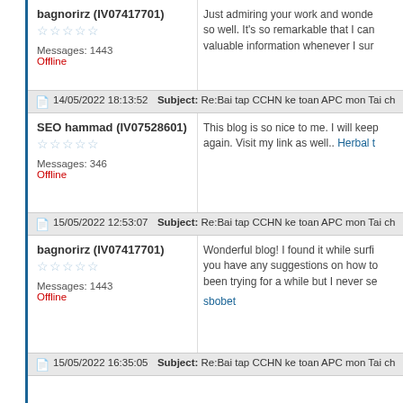bagnorirz (IV07417701) — Messages: 1443 — Offline
Just admiring your work and wonde... so well. It's so remarkable that I can... valuable information whenever I sur...
14/05/2022 18:13:52 — Subject: Re:Bai tap CCHN ke toan APC mon Tai chinh va Quan ly Tai chinh
SEO hammad (IV07528601) — Messages: 346 — Offline
This blog is so nice to me. I will keep coming again. Visit my link as well.. Herbal t...
15/05/2022 12:53:07 — Subject: Re:Bai tap CCHN ke toan APC mon Tai chinh va Quan ly Tai chinh
bagnorirz (IV07417701) — Messages: 1443 — Offline
Wonderful blog! I found it while surfi... you have any suggestions on how to... been trying for a while but I never se... sbobet
15/05/2022 16:35:05 — Subject: Re:Bai tap CCHN ke toan APC mon Tai chinh va Quan ly Tai chinh